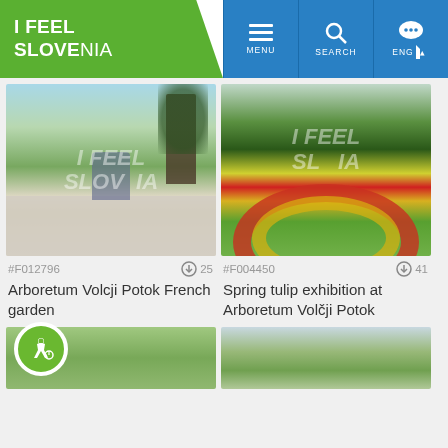I FEEL SLOVENIA — navigation header with MENU, SEARCH, ENG controls
[Figure (photo): Arboretum Volcji Potok French garden — couple on ornate stone balustrade overlooking formal garden with large trees]
#F012796   ⬇ 25
Arboretum Volcji Potok French garden
[Figure (photo): Spring tulip exhibition at Arboretum Volčji Potok — aerial view of colorful red and yellow tulip rings on green lawn]
#F004450   ⬇ 41
Spring tulip exhibition at Arboretum Volčji Potok
[Figure (photo): Partial view of green trees/park scene with accessibility badge icon overlay]
[Figure (photo): Partial view of park/garden with trees and sky]